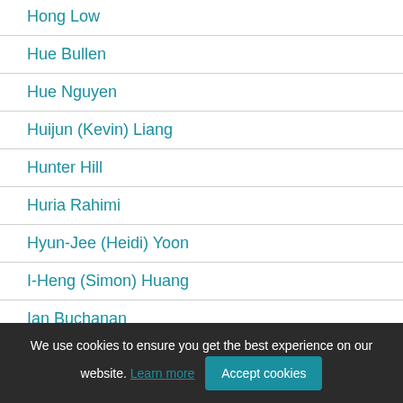Hong Low
Hue Bullen
Hue Nguyen
Huijun (Kevin) Liang
Hunter Hill
Huria Rahimi
Hyun-Jee (Heidi) Yoon
I-Heng (Simon) Huang
Ian Buchanan
We use cookies to ensure you get the best experience on our website. Learn more  Accept cookies